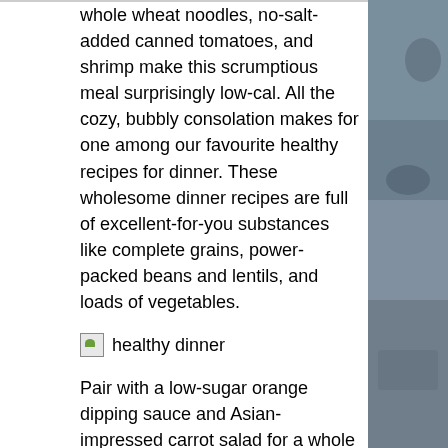whole wheat noodles, no-salt-added canned tomatoes, and shrimp make this scrumptious meal surprisingly low-cal. All the cozy, bubbly consolation makes for one among our favourite healthy recipes for dinner. These wholesome dinner recipes are full of excellent-for-you substances like complete grains, power-packed beans and lentils, and loads of vegetables.
[Figure (photo): Small image icon with alt text 'healthy dinner']
Pair with a low-sugar orange dipping sauce and Asian-impressed carrot salad for a whole meal. Using cooked, canned beans helps the dish come collectively in simply 30 minutes. These tasty good-for-you dinners from Food Network cooks are on the desk in fewer than forty minutes.
From a healthier version of Chinese language take-out staple Common Tso's Rooster to poached salmon with cucumber raita, listed below are quick and healthy meals that can get you out and in of the kitchen. Store-purchased rotisserie chicken is the secret behind this hearty entree salad that's prepared in 20 minutes.
With a rub made from sesame seeds and lemon zest, hen thighs develop into the centerpiece of this wholesome most important dish, which includes a simple lettuce and tomato salad. It's a great dinner for nights you already know you will not have time to prepare dinner.